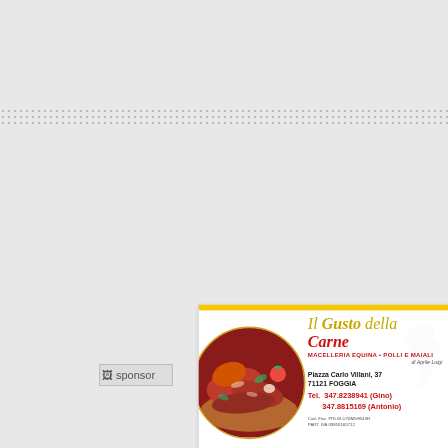[Figure (infographic): Business card for 'Il Gusto della Carne' – a butcher shop (Macelleria Equina, Polli e Maiali) run by Aprile Luigi. Located at Piazza Carlo Villani, 37 – 71121 Foggia. Phone: 347.8238941 (Gino), 347.8815169 (Antonio). Cod. Fisc. PRLGLU70M5H643H. PART. IVA 03850160712. Card has yellow top bar, red bottom bar, a circular meat photo on the left, and horse silhouette watermark.]
sponsor